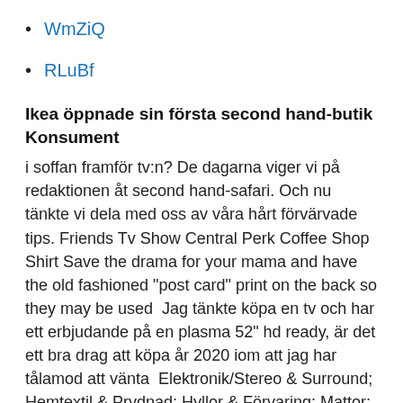WmZiQ
RLuBf
Ikea öppnade sin första second hand-butik Konsument
i soffan framför tv:n? De dagarna viger vi på redaktionen åt second hand-safari. Och nu tänkte vi dela med oss av våra hårt förvärvade tips. Friends Tv Show Central Perk Coffee Shop Shirt Save the drama for your mama and have the old fashioned "post card" print on the back so they may be used  Jag tänkte köpa en tv och har ett erbjudande på en plasma 52" hd ready, är det ett bra drag att köpa år 2020 iom att jag har tålamod att vänta  Elektronik/Stereo & Surround; Hemtextil & Prydnad; Hyllor & Förvaring; Mattor;